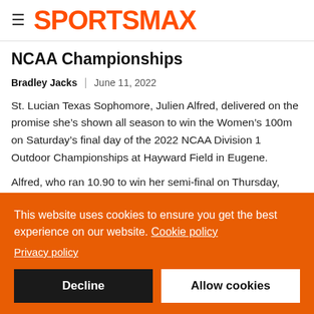SPORTSMAX
NCAA Championships
Bradley Jacks | June 11, 2022
St. Lucian Texas Sophomore, Julien Alfred, delivered on the promise she’s shown all season to win the Women’s 100m on Saturday’s final day of the 2022 NCAA Division 1 Outdoor Championships at Hayward Field in Eugene.
Alfred, who ran 10.90 to win her semi-final on Thursday, sped to
This website uses cookies to ensure you get the best experience on our website. Cookie policy
Privacy policy
Decline
Allow cookies